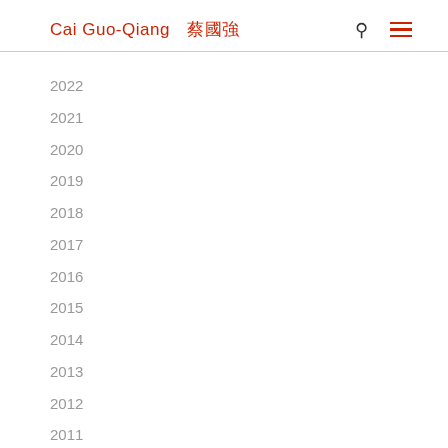Cai Guo-Qiang 蔡國強
2022
2021
2020
2019
2018
2017
2016
2015
2014
2013
2012
2011
2010